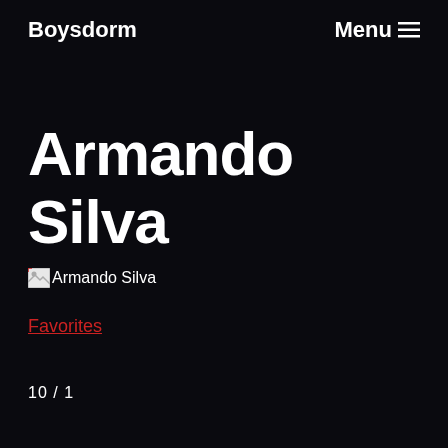Boysdorm   Menu ≡
Armando Silva
[Figure (other): Broken image placeholder icon followed by text 'Armando Silva']
Favorites
10 / 1